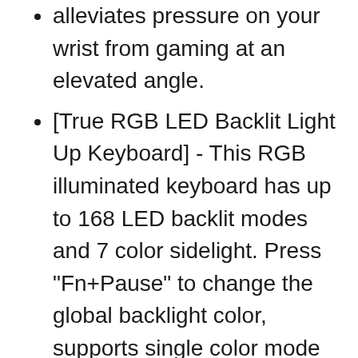alleviates pressure on your wrist from gaming at an elevated angle.
[True RGB LED Backlit Light Up Keyboard] - This RGB illuminated keyboard has up to 168 LED backlit modes and 7 color sidelight. Press "Fn+Pause" to change the global backlight color, supports single color mode and RGB color mode. You can also adjust the backlit brightness and speed. And you can create 1 customized backlight as you like.
[Metal Panel & 108-Key Anti-Ghosting] - The keyboard has a...